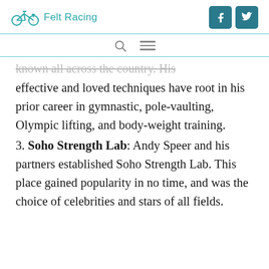Felt Racing
known all across the country. His effective and loved techniques have root in his prior career in gymnastic, pole-vaulting, Olympic lifting, and body-weight training.
3. Soho Strength Lab: Andy Speer and his partners established Soho Strength Lab. This place gained popularity in no time, and was the choice of celebrities and stars of all fields.